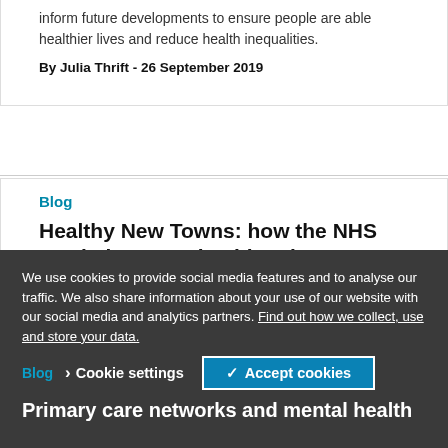inform future developments to ensure people are able healthier lives and reduce health inequalities.
By Julia Thrift - 26 September 2019
Blog
Healthy New Towns: how the NHS can help create healthy places
As NHS England publish the key learnings from its Healthy New Towns Programme, Alex Baylis explains why The King's Fund has been involved in this work and how it links with our vision for population health.
By Alex Baylis - 3 September 2019
We use cookies to provide social media features and to analyse our traffic. We also share information about your use of our website with our social media and analytics partners. Find out how we collect, use and store your data.
Blog
Primary care networks and mental health